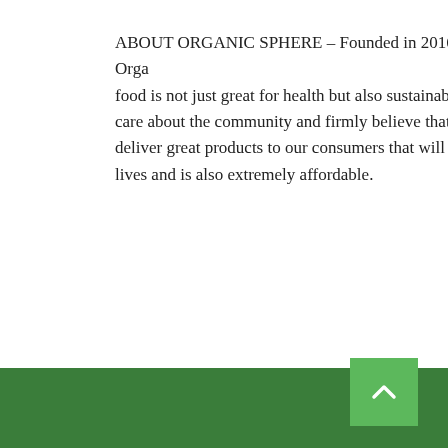ABOUT ORGANIC SPHERE – Founded in 2016, we at Organic Sphere believe that food is not just great for health but also sustainable for the environment. We care about the community and firmly believe that it is our responsibility to deliver great products to our consumers that will have a positive impact on their lives and is also extremely affordable.
-
KEYWORDS
This site uses functional cookies and external scripts to improve your experience.
More information
Accept